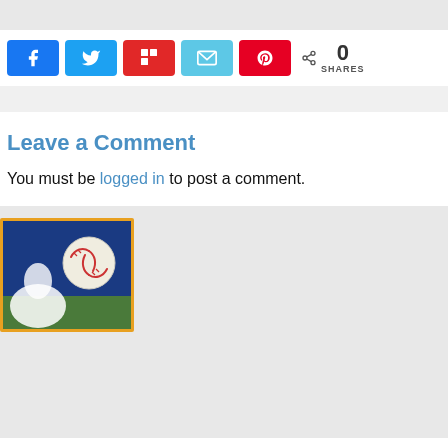[Figure (screenshot): Top gray banner bar]
[Figure (infographic): Social share buttons: Facebook, Twitter, Flipboard, Email, Pinterest, with 0 SHARES count]
Leave a Comment
You must be logged in to post a comment.
[Figure (photo): Baseball pitcher throwing a ball; close-up of baseball in foreground with blue sky background, inside a gold-bordered card]